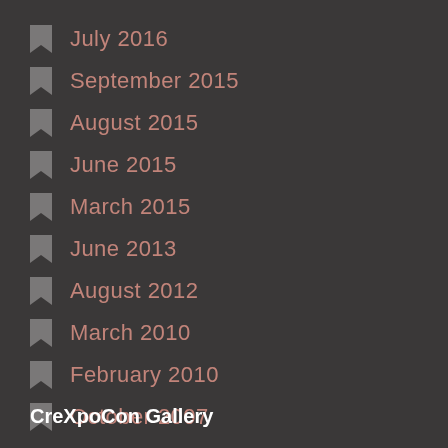July 2016
September 2015
August 2015
June 2015
March 2015
June 2013
August 2012
March 2010
February 2010
October 2007
CreXpoCon Gallery